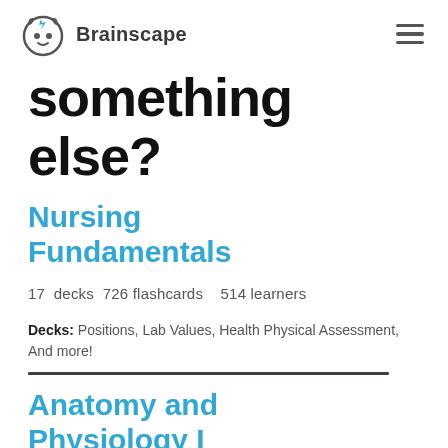Brainscape
something else?
Nursing Fundamentals
17 decks  726 flashcards   514 learners
Decks: Positions, Lab Values, Health Physical Assessment, And more!
Anatomy and Physiology I